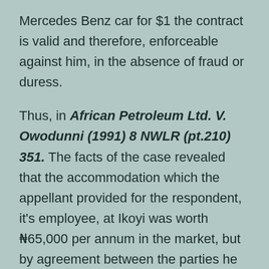Mercedes Benz car for $1 the contract is valid and therefore, enforceable against him, in the absence of fraud or duress.
Thus, in African Petroleum Ltd. V. Owodunni (1991) 8 NWLR (pt.210) 351. The facts of the case revealed that the accommodation which the appellant provided for the respondent, it's employee, at Ikoyi was worth ₦65,000 per annum in the market, but by agreement between the parties he was only paying ₦400 per annum.
Commenting on the respondents consideration in this tenancy contract, which he referred to